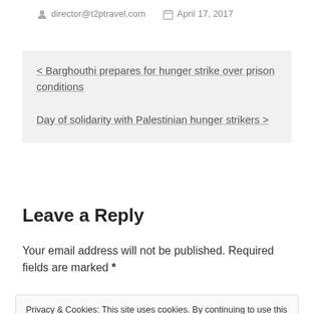director@t2ptravel.com   April 17, 2017
< Barghouthi prepares for hunger strike over prison conditions
Day of solidarity with Palestinian hunger strikers >
Leave a Reply
Your email address will not be published. Required fields are marked *
Privacy & Cookies: This site uses cookies. By continuing to use this website, you agree to their use.
To find out more, including how to control cookies, see here: Cookie Policy